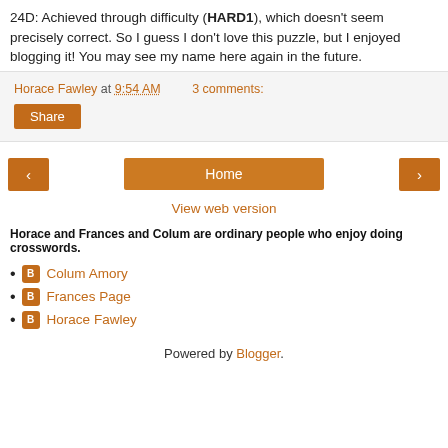24D: Achieved through difficulty (HARD1), which doesn't seem precisely correct. So I guess I don't love this puzzle, but I enjoyed blogging it! You may see my name here again in the future.
Horace Fawley at 9:54 AM   3 comments:
Share
< Home >
View web version
Horace and Frances and Colum are ordinary people who enjoy doing crosswords.
Colum Amory
Frances Page
Horace Fawley
Powered by Blogger.